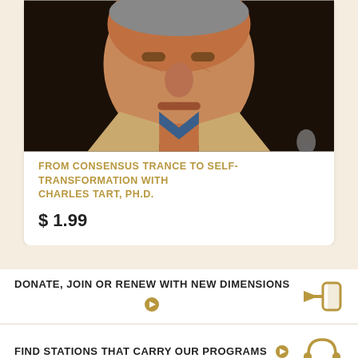[Figure (photo): Photo of Charles Tart, an older man in a beige jacket and blue shirt, shown from shoulders up against a dark background.]
FROM CONSENSUS TRANCE TO SELF-TRANSFORMATION WITH CHARLES TART, PH.D.
$ 1.99
DONATE, JOIN OR RENEW WITH NEW DIMENSIONS
FIND STATIONS THAT CARRY OUR PROGRAMS
FIND DOWNLOADABLE PROGRAMS